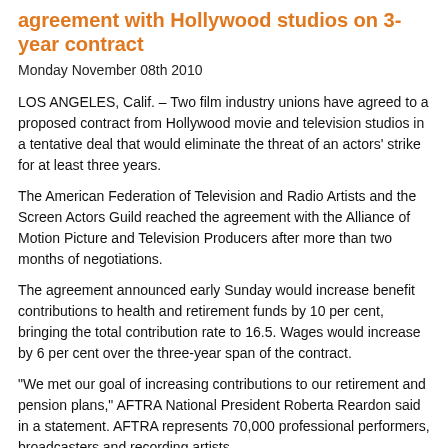agreement with Hollywood studios on 3-year contract
Monday November 08th 2010
LOS ANGELES, Calif. – Two film industry unions have agreed to a proposed contract from Hollywood movie and television studios in a tentative deal that would eliminate the threat of an actors' strike for at least three years.
The American Federation of Television and Radio Artists and the Screen Actors Guild reached the agreement with the Alliance of Motion Picture and Television Producers after more than two months of negotiations.
The agreement announced early Sunday would increase benefit contributions to health and retirement funds by 10 per cent, bringing the total contribution rate to 16.5. Wages would increase by 6 per cent over the three-year span of the contract.
“We met our goal of increasing contributions to our retirement and pension plans,” AFTRA National President Roberta Reardon said in a statement. AFTRA represents 70,000 professional performers, broadcasters and recording artists.
SAG President Ken Howard added that strengthening the pension